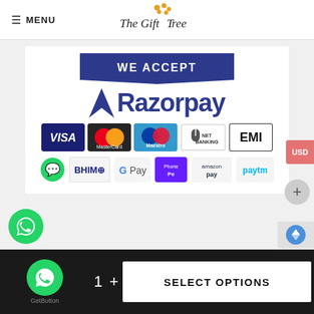≡ MENU | The Gift Tree
[Figure (screenshot): Payment acceptance banner showing Razorpay logo with supported payment methods: Visa, MasterCard, Maestro, Net Banking, EMI, WhatsApp, BHIM, G Pay, PhonePe, Amazon Pay, Paytm]
[Figure (logo): USD currency button on right edge]
GetButton | 1 + | SELECT OPTIONS